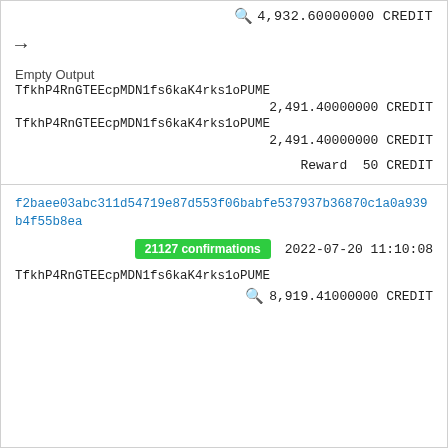4,932.60000000 CREDIT
→
Empty Output
TfkhP4RnGTEEcpMDN1fs6kaK4rks1oPUME
2,491.40000000 CREDIT
TfkhP4RnGTEEcpMDN1fs6kaK4rks1oPUME
2,491.40000000 CREDIT
Reward 50 CREDIT
f2baee03abc311d54719e87d553f06babfe537937b36870c1a0a939b4f55b8ea
21127 confirmations   2022-07-20 11:10:08
TfkhP4RnGTEEcpMDN1fs6kaK4rks1oPUME
8,919.41000000 CREDIT